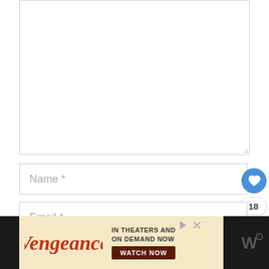[Figure (screenshot): Empty white textarea input box with resize handle at bottom-right corner]
[Figure (screenshot): Name text input field with placeholder text 'Name *' and a blue circular heart/like button with count badge '18' and a share button]
[Figure (screenshot): Email text input field with placeholder text 'Email *']
[Figure (screenshot): Advertisement banner for 'Vengeance' movie - 'IN THEATERS AND ON DEMAND NOW' with 'WATCH NOW' button, play and close controls, and watermark logo]